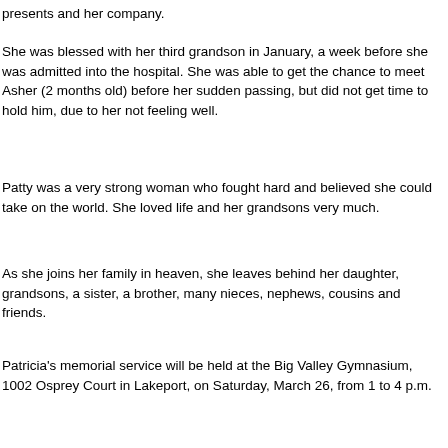presents and her company.
She was blessed with her third grandson in January, a week before she was admitted into the hospital. She was able to get the chance to meet Asher (2 months old) before her sudden passing, but did not get time to hold him, due to her not feeling well.
Patty was a very strong woman who fought hard and believed she could take on the world. She loved life and her grandsons very much.
As she joins her family in heaven, she leaves behind her daughter, grandsons, a sister, a brother, many nieces, nephews, cousins and friends.
Patricia's memorial service will be held at the Big Valley Gymnasium, 1002 Osprey Court in Lakeport, on Saturday, March 26, from 1 to 4 p.m.